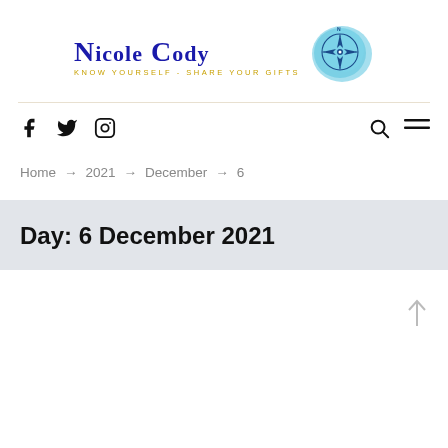[Figure (logo): Nicole Cody logo with blue serif text and compass rose watercolor graphic. Tagline: KNOW YOURSELF - SHARE YOUR GIFTS]
f  (twitter bird)  (instagram icon)    (search icon)  (menu icon)
Home → 2021 → December → 6
Day: 6 December 2021